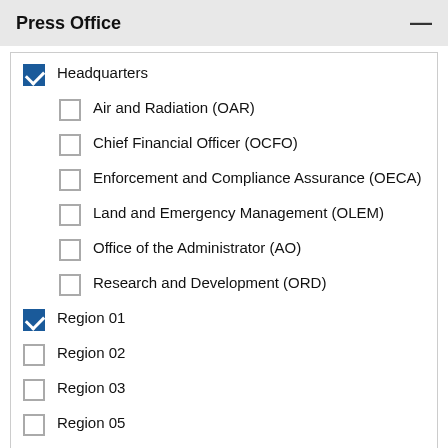Press Office
Headquarters (checked)
Air and Radiation (OAR)
Chief Financial Officer (OCFO)
Enforcement and Compliance Assurance (OECA)
Land and Emergency Management (OLEM)
Office of the Administrator (AO)
Research and Development (ORD)
Region 01 (checked)
Region 02
Region 03
Region 05